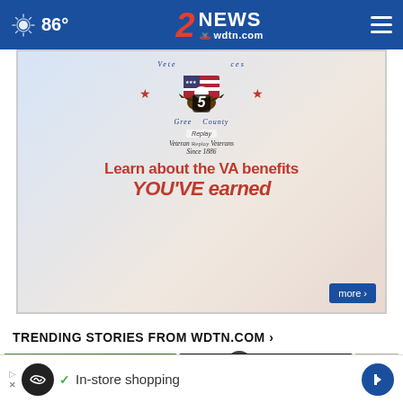86° | 2 NEWS wdtn.com
[Figure (screenshot): Advertisement for Greene County Veterans Services featuring a bald eagle, American flag, and text: 'Learn about the VA benefits YOU'VE earned'. Includes a Replay button overlay and 'more >' button.]
TRENDING STORIES FROM WDTN.COM ›
[Figure (photo): Three thumbnail images in a row: trees/outdoor scene with play button, person's face (close-up), and partial view of another person.]
[Figure (screenshot): Bottom advertisement bar: AdChoices icon, circular logo, checkmark, 'In-store shopping' text, navigation arrow button.]